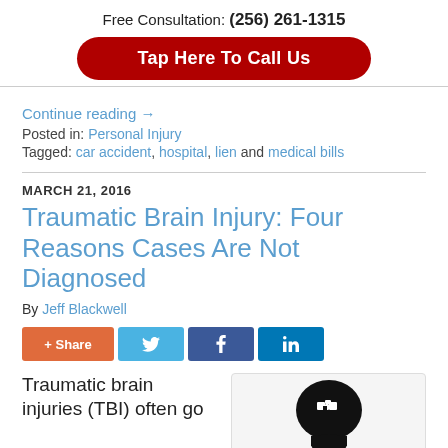Free Consultation: (256) 261-1315
Tap Here To Call Us
Continue reading →
Posted in: Personal Injury
Tagged: car accident, hospital, lien and medical bills
MARCH 21, 2016
Traumatic Brain Injury: Four Reasons Cases Are Not Diagnosed
By Jeff Blackwell
[Figure (other): Social share buttons: Share, Twitter, Facebook, LinkedIn]
Traumatic brain injuries (TBI) often go
[Figure (illustration): Brain icon with puzzle piece, black silhouette on light background]